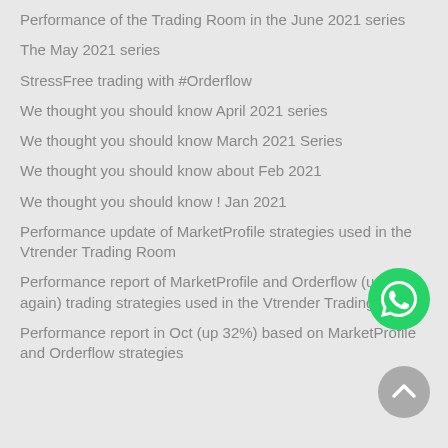Performance of the Trading Room in the June 2021 series
The May 2021 series
StressFree trading with #Orderflow
We thought you should know April 2021 series
We thought you should know March 2021 Series
We thought you should know about Feb 2021
We thought you should know ! Jan 2021
Performance update of MarketProfile strategies used in the Vtrender Trading Room
Performance report of MarketProfile and Orderflow (up 32% again) trading strategies used in the Vtrender Trading Room
Performance report in Oct (up 32%) based on MarketProfile and Orderflow strategies
[Figure (logo): WhatsApp button icon - green circle with white phone icon]
[Figure (other): Scroll to top button - grey circle with white upward chevron]